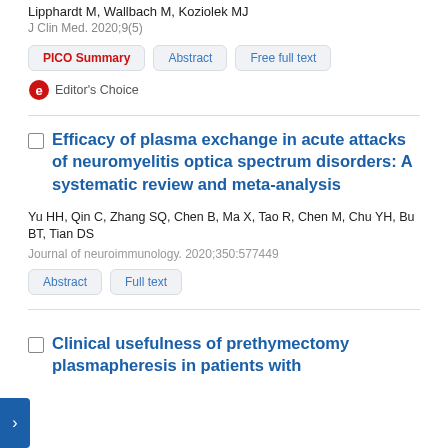Lipphardt M, Wallbach M, Koziolek MJ
J Clin Med. 2020;9(5)
PICO Summary | Abstract | Free full text | Editor's Choice
Efficacy of plasma exchange in acute attacks of neuromyelitis optica spectrum disorders: A systematic review and meta-analysis
Yu HH, Qin C, Zhang SQ, Chen B, Ma X, Tao R, Chen M, Chu YH, Bu BT, Tian DS
Journal of neuroimmunology. 2020;350:577449
Abstract | Full text
Clinical usefulness of prethymectomy plasmapheresis in patients with